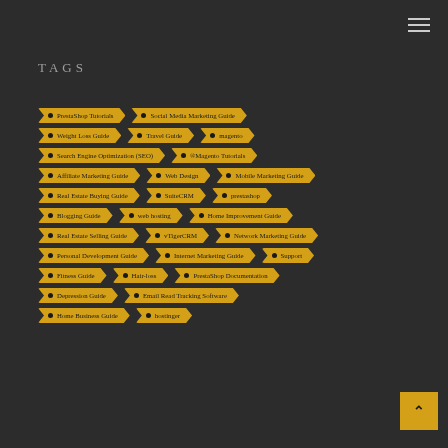TAGS
PrestaShop Tutorials
Social Media Marketing Guide
Weight Loss Guide
Travel Guide
magento
Search Engine Optimization (SEO)
®Magento Tutorials
Affiliate Marketing Guide
Web Design
Mobile Marketing Guide
Real Estate Buying Guide
SuiteCRM
prestashop
Blogging Guide
web hosting
Home Improvement Guide
Real Estate Selling Guide
vTigerCRM
Network Marketing Guide
Personal Development Guide
Internet Marketing Guide
Support
Fitness Guide
Hair-loss
PrestaShop Documentation
Depression Guide
Email Read Tracking Software
Home Business Guide
hostinger